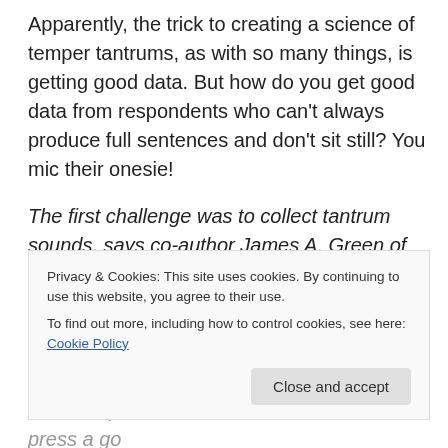Apparently, the trick to creating a science of temper tantrums, as with so many things, is getting good data. But how do you get good data from respondents who can't always produce full sentences and don't sit still? You mic their onesie!
The first challenge was to collect tantrum sounds, says co-author James A. Green of the University of Connecticut.
“We developed a onesie that toddlers can wear that has a high-quality wireless microphone sewn into it,” Green said.
“Parents put this onesie on the child and press a go
Privacy & Cookies: This site uses cookies. By continuing to use this website, you agree to their use.
To find out more, including how to control cookies, see here: Cookie Policy
Close and accept